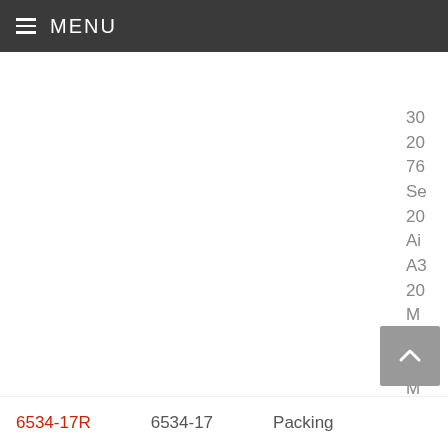MENU
30 20 76 Se 20 Ai A3 20 M A3 22 M A3 32 M
6534-17R  6534-17  Packing